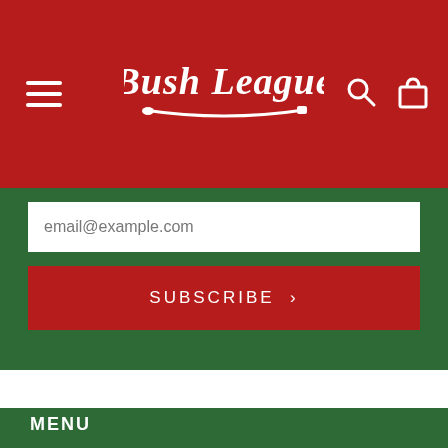[Figure (logo): Bush League logo in white cursive/script font on red background, with a baseball bat graphic underneath]
email@example.com
SUBSCRIBE >
MENU
Search
Shipping Policy